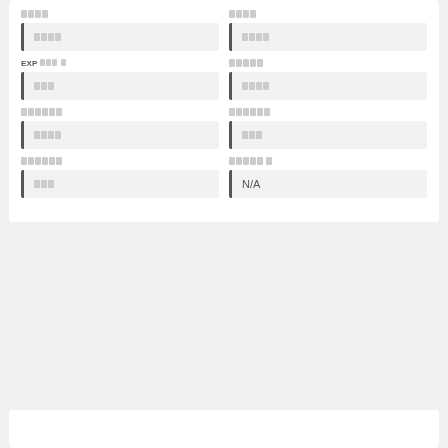████
████
████
████
EXP████ █
█████
███
████
██████
██████
████
███
██████
█████ █
███
N/A